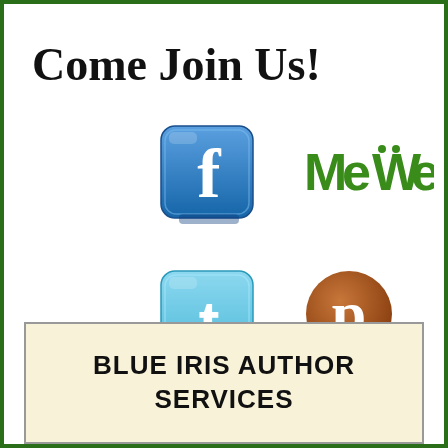Come Join Us!
[Figure (logo): Facebook logo icon - blue square with white 'f']
[Figure (logo): MeWe text logo in green]
[Figure (logo): Twitter logo icon - light blue square with white 't']
[Figure (logo): Pinterest logo icon - brown circle with white 'p']
BLUE IRIS AUTHOR SERVICES